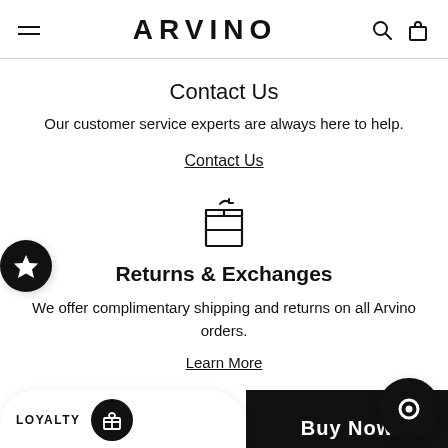ARVINO
Contact Us
Our customer service experts are always here to help.
Contact Us
[Figure (illustration): Box/package icon with a return arrow on top, representing returns and exchanges]
Returns & Exchanges
We offer complimentary shipping and returns on all Arvino orders.
Learn More
LOYALTY
Buy Now